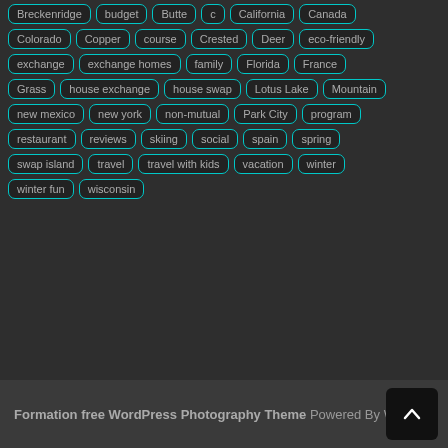Breckenridge, budget, Butte, c, California, Canada, Colorado, Copper, course, Crested, Deer, eco-friendly, exchange, exchange homes, family, Florida, France, Grass, house exchange, house swap, Lotus Lake, Mountain, new mexico, new york, non-mutual, Park City, program, restaurant, reviews, skiing, social, spain, spring, swap island, travel, travel with kids, vacation, winter, winter fun, wisconsin
Formation free WordPress Photography Theme Powered By W